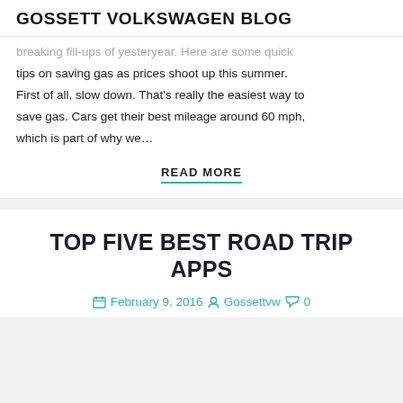GOSSETT VOLKSWAGEN BLOG
breaking fill-ups of yesteryear. Here are some quick tips on saving gas as prices shoot up this summer. First of all, slow down. That's really the easiest way to save gas. Cars get their best mileage around 60 mph, which is part of why we…
READ MORE
TOP FIVE BEST ROAD TRIP APPS
February 9, 2016  Gossettvw  0